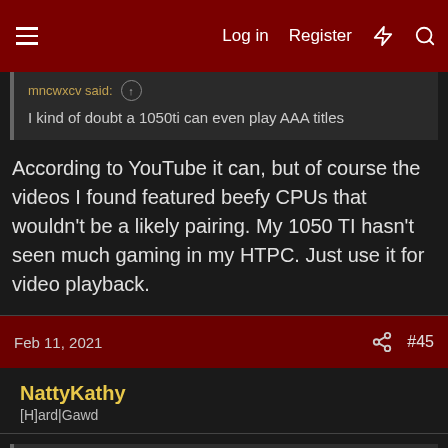Log in  Register
mncwxcv said: ↑
I kind of doubt a 1050ti can even play AAA titles
According to YouTube it can, but of course the videos I found featured beefy CPUs that wouldn't be a likely pairing. My 1050 TI hasn't seen much gaming in my HTPC. Just use it for video playback.
Feb 11, 2021  #45
NattyKathy
[H]ard|Gawd
Eshelmen said: ↑
I don't know anyone who would need a 1050ti, especially if it were a "filler" card.

Steam itself has the 1060 as the most dominantly used gpu for users. A card that's been out for years and is better than a 1050ti